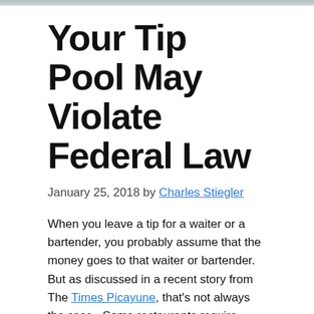Your Tip Pool May Violate Federal Law
January 25, 2018 by Charles Stiegler
When you leave a tip for a waiter or a bartender, you probably assume that the money goes to that waiter or bartender.  But as discussed in a recent story from The Times Picayune, that’s not always the case.  Some restaurants require employees to participate in a “tip pool.”  In many cases the tip pool may actually violate federal law.